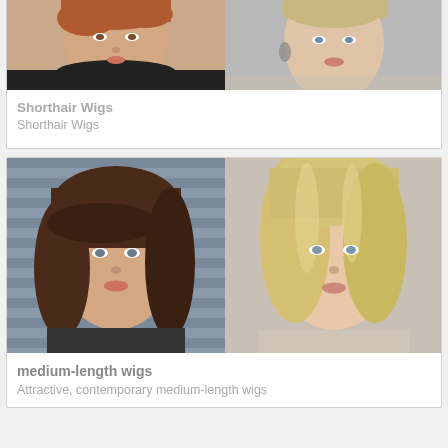[Figure (photo): Two women with short hair wigs, side by side portrait photos]
Shorthair Wigs
Shorthair Wigs
[Figure (photo): Two women with medium-length wigs - one brunette, one blonde, side by side portrait photos]
medium-length wigs
Attractive, contemporary medium-length wigs